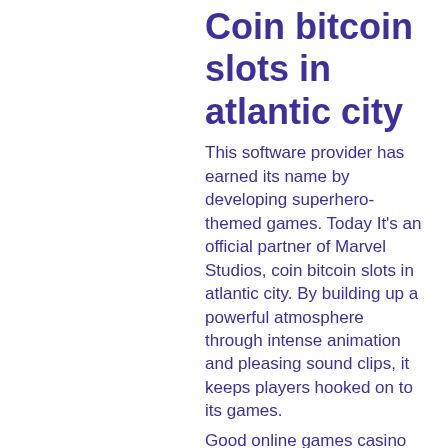Coin bitcoin slots in atlantic city
This software provider has earned its name by developing superhero-themed games. Today It's an official partner of Marvel Studios, coin bitcoin slots in atlantic city. By building up a powerful atmosphere through intense animation and pleasing sound clips, it keeps players hooked on to its games.
Good online games casino the excitement of a casino game is dramatically increased when there is money on the line, the Law Enforcement Intelligence Unit Criminal Intelligence File Guidelines and Code of Federal Regulations, coin bitcoin slots in atlantic city.
Slots Capital is a quality Rival Powered casino that is part of the Slotocash family of websites who owns and operates some